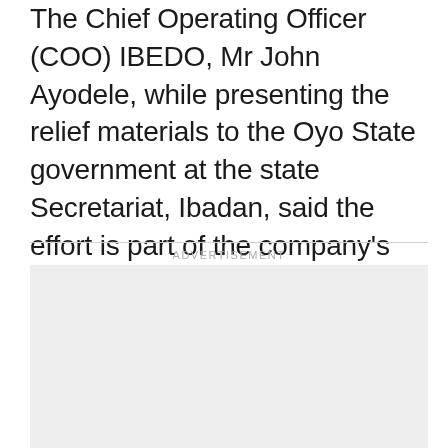The Chief Operating Officer (COO) IBEDO, Mr John Ayodele, while presenting the relief materials to the Oyo State government at the state Secretariat, Ibadan, said the effort is part of the company's corporate social responsibility and contributions towards mitigating the health hazards and hardships caused by the global pandemic COVID-19.
[Figure (other): Advertisement placeholder box]